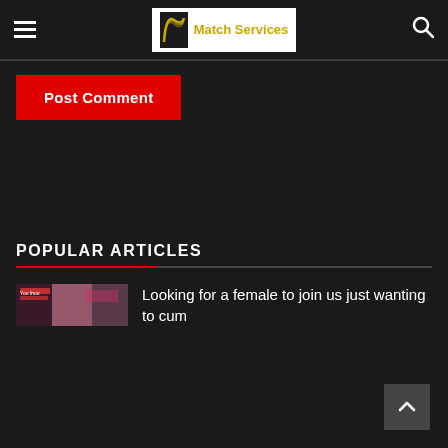Match Services
Post Comment
POPULAR ARTICLES
[Figure (screenshot): Thumbnail image for article about looking for a female]
Looking for a female to join us just wanting to cum